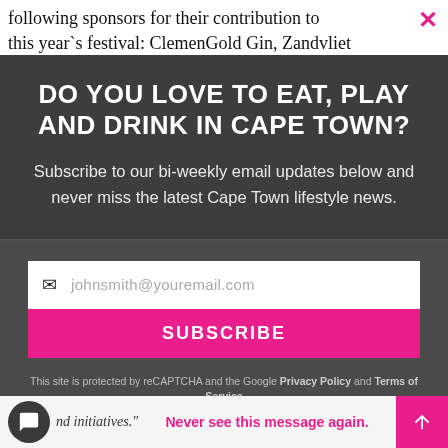following sponsors for their contribution to this year`s festival: ClemenGold Gin, Zandvliet
DO YOU LOVE TO EAT, PLAY AND DRINK IN CAPE TOWN?
Subscribe to our bi-weekly email updates below and never miss the latest Cape Town lifestyle news.
johnsmith@youremail.com
SUBSCRIBE
This site is protected by reCAPTCHA and the Google Privacy Policy and Terms of Service apply.
nd initiatives."
Never see this message again.